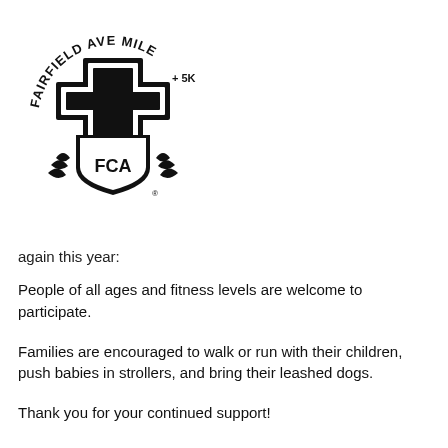[Figure (logo): Fairfield Ave Mile + 5K FCA logo with cross and shield emblem]
again this year:
People of all ages and fitness levels are welcome to participate.
Families are encouraged to walk or run with their children, push babies in strollers, and bring their leashed dogs.
Thank you for your continued support!